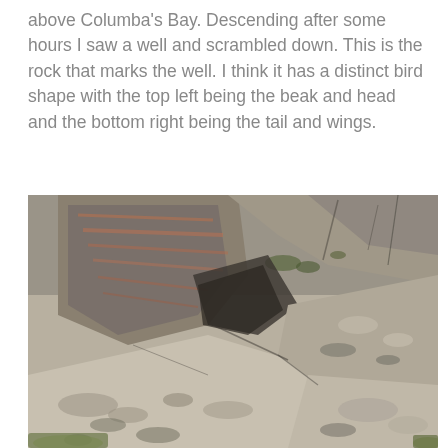above Columba's Bay. Descending after some hours I saw a well and scrambled down. This is the rock that marks the well. I think it has a distinct bird shape with the top left being the beak and head and the bottom right being the tail and wings.
[Figure (photo): A close-up photograph of rocky terrain with large layered granite or gneiss rocks, moss and small green plants visible between and around the rocks. The rocks show natural stratification and weathering patterns.]